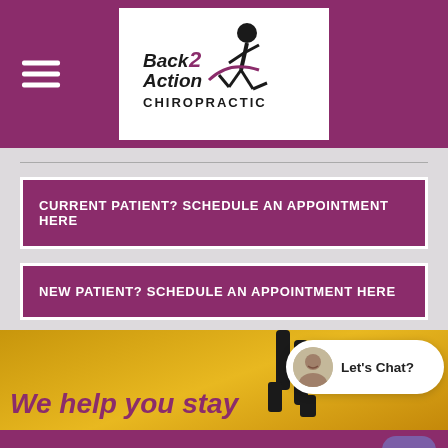[Figure (logo): Back 2 Action Chiropractic logo with figure running graphic and text]
CURRENT PATIENT? SCHEDULE AN APPOINTMENT HERE
NEW PATIENT?  SCHEDULE AN APPOINTMENT HERE
We help you stay
[Figure (photo): Runner's legs on golden background]
[Figure (screenshot): Let's Chat? chat bubble with avatar]
Ask the Doctor